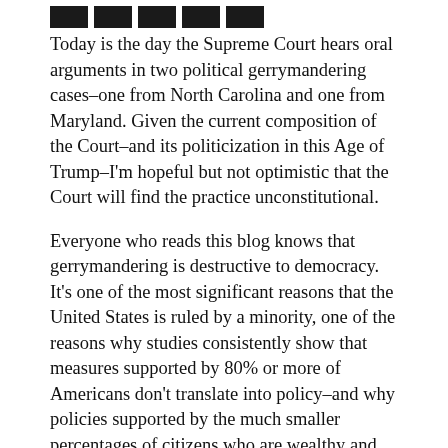[Figure (other): Row of five dark/black social sharing or navigation icon buttons at the top of the page]
Today is the day the Supreme Court hears oral arguments in two political gerrymandering cases–one from North Carolina and one from Maryland. Given the current composition of the Court–and its politicization in this Age of Trump–I'm hopeful but not optimistic that the Court will find the practice unconstitutional.
Everyone who reads this blog knows that gerrymandering is destructive to democracy. It's one of the most significant reasons that the United States is ruled by a minority, one of the reasons why studies consistently show that measures supported by 80% or more of Americans don't translate into policy–and why policies supported by the much smaller percentages of citizens who are wealthy and well-connected are much more likely to become law.
But it took my husband's remark at a recent anti-gerrymandering house party to bring home the connection